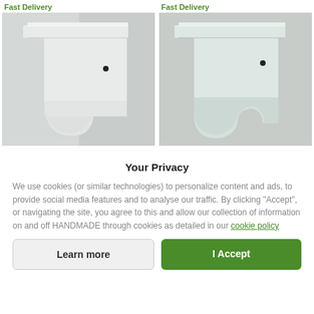Fast Delivery
[Figure (photo): White decorative wall bracket/shelf bracket with ornate curved profile, photographed against a light gray wall]
Fast Delivery
[Figure (photo): White decorative wall bracket/shelf bracket with ornate curved profile, slightly different angle, photographed against a light gray wall]
Your Privacy
We use cookies (or similar technologies) to personalize content and ads, to provide social media features and to analyse our traffic. By clicking "Accept", or navigating the site, you agree to this and allow our collection of information on and off HANDMADE through cookies as detailed in our cookie policy
Learn more
I Accept